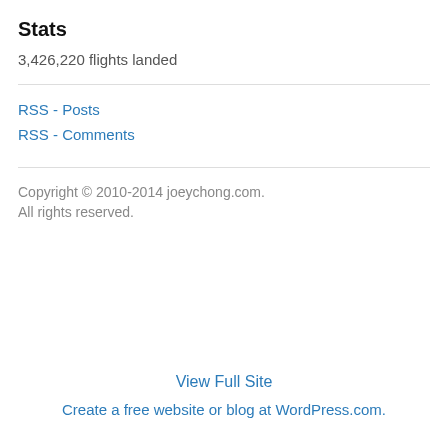Stats
3,426,220 flights landed
RSS - Posts
RSS - Comments
Copyright © 2010-2014 joeychong.com.
All rights reserved.
View Full Site
Create a free website or blog at WordPress.com.